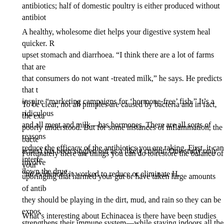antibiotics; half of domestic poultry is either produced without antibiot...
A healthy, wholesome diet helps your digestive system heal quicker. R... upset stomach and diarrhoea. “I think there are a lot of farms that are... that consumers do not want -treated milk,” he says. He predicts that t... inspire “marketing campaigns for ‘hormone-free’ fish.” It’s a ridiculous... and all meat and milk—has hormones. There are all sorts of reasons... reduce the efficacy of the antibiotics you are taking. First, it can interfe... down the drug.
To be clear, not all pimples are caused by bacteria and in fact, the exa... poorly understood. But for some instances of inflammation, the bacte... acnes) has been singled out as a likely culprit. One study only involve... “no evidence” it worked to reduce or eliminate H.
Fortunately there are things you can do to restore the balance of your... upbringing that harmed your gut or have taken large amounts of antib... they should be playing in the dirt, mud, and rain so they can be expos... strengthens their immune system—while staying indoors all the time w... much to throw a child’s healthy development off course. When a child... course, he/she can develop psychological or physical issues.
What’s interesting about Echinacea is there have been studies sugge... be a natural antiviral . When we eat unhealthy things like processed s...